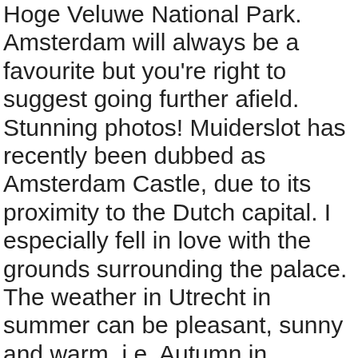Hoge Veluwe National Park. Amsterdam will always be a favourite but you're right to suggest going further afield. Stunning photos! Muiderslot has recently been dubbed as Amsterdam Castle, due to its proximity to the Dutch capital. I especially fell in love with the grounds surrounding the palace. The weather in Utrecht in summer can be pleasant, sunny and warm, i.e. Autumn in Amsterdam @ Amsterdam, Netherlands. , Such beautiful autumnal colours! In the morning, the city enveloped in white fog, cloudy weather now is back to normal. I recently wrote about Delft and The Hague. This gives way for clear skies and stargazing! I love apple picking! Autumn is a Dutch female fronted heavy rock band formed in 1995. Autumn in Rotterdam, the Netherlands - Koop deze stockfoto en ontdek vergelijkbare foto's op Adobe Stock I've always thought of the best time to visit the Netherlands is during Spring with all your tulips in bloom. I mean, foodies.. like me! Time to go out and to enjoy the last warm rays of the sun, admire the colours and the messy streets. What a wonderful post, Esther! But yes, autumn is